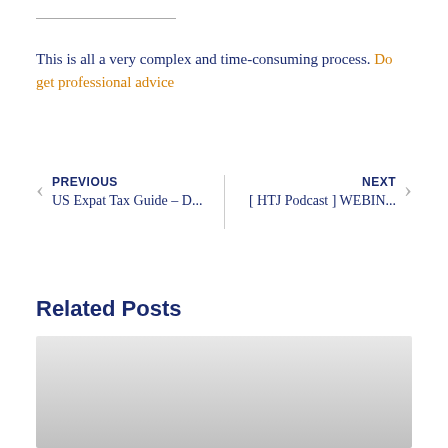This is all a very complex and time-consuming process. Do get professional advice
PREVIOUS
US Expat Tax Guide – D...
NEXT
[ HTJ Podcast ] WEBIN...
Related Posts
[Figure (photo): Gray placeholder image for a related post]